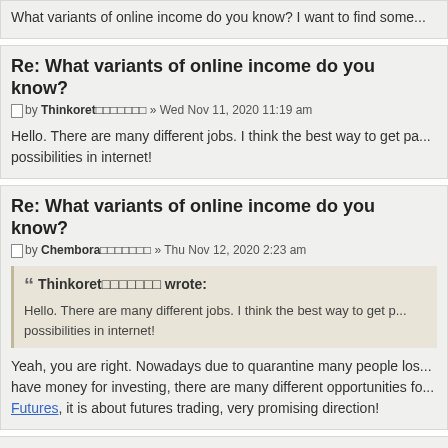What variants of online income do you know? I want to find some...
Re: What variants of online income do you know?
by Thinkoret□□□□□□□ » Wed Nov 11, 2020 11:19 am
Hello. There are many different jobs. I think the best way to get pa... possibilities in internet!
Re: What variants of online income do you know?
by Chembora□□□□□□□ » Thu Nov 12, 2020 2:23 am
Thinkoret□□□□□□□ wrote: Hello. There are many different jobs. I think the best way to get p... possibilities in internet!
Yeah, you are right. Nowadays due to quarantine many people los... have money for investing, there are many different opportunities fo... Futures, it is about futures trading, very promising direction!
Re: What variants of online income do you know?